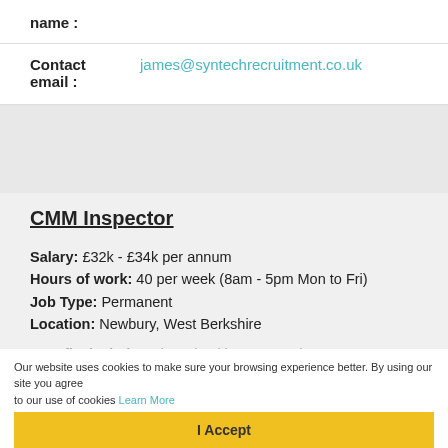name :
Contact email : james@syntechrecruitment.co.uk
CMM Inspector
Salary: £32k - £34k per annum
Hours of work: 40 per week (8am - 5pm Mon to Fri)
Job Type: Permanent
Location: Newbury, West Berkshire
Benefits include: Private healthcare, premium contributions, relocation assistance, life assurance and free on-site parking
Tasks for a Mechanical Inspector:
Our website uses cookies to make sure your browsing experience better. By using our site you agree to our use of cookies Learn More
I Accept